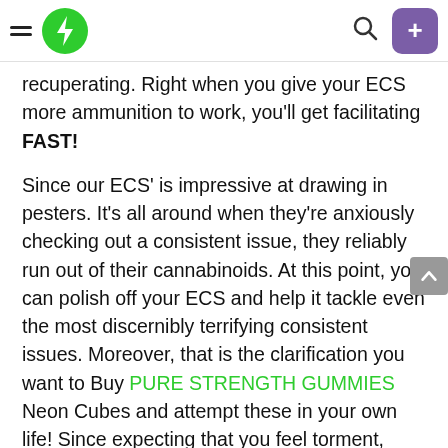[Nav bar with hamburger menu, green lightning bolt logo, search icon, and purple + button]
recuperating. Right when you give your ECS more ammunition to work, you'll get facilitating FAST!
Since our ECS' is impressive at drawing in pesters. It's all around when they're anxiously checking out a consistent issue, they reliably run out of their cannabinoids. At this point, you can polish off your ECS and help it tackle even the most discernibly terrifying consistent issues. Moreover, that is the clarification you want to Buy PURE STRENGTH GUMMIES Neon Cubes and attempt these in your own life! Since expecting that you feel torment, stress, or aren't snoozing, your ECS is calling out for help! Hence, give it what it needs with CBD!